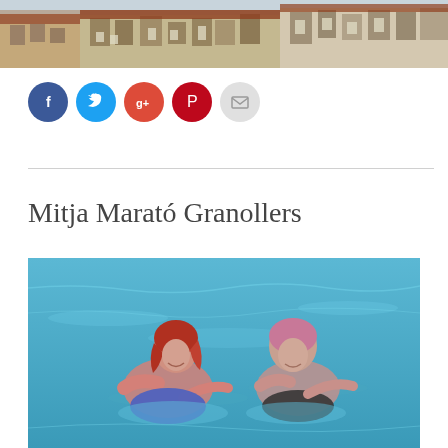[Figure (photo): Top banner photo of a European town square or plaza with terracotta rooftops and multi-storey buildings]
[Figure (infographic): Row of social media sharing icons: Facebook (blue), Twitter (light blue), Google+ (red-orange), Pinterest (dark red), Email (grey)]
Mitja Marató Granollers
[Figure (photo): Two women swimming in a blue pool, appearing to be in a triathlon or open-water swim event, wearing colourful swimwear]